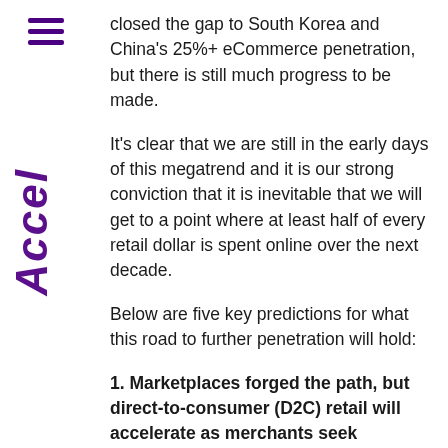closed the gap to South Korea and China's 25%+ eCommerce penetration, but there is still much progress to be made.
It's clear that we are still in the early days of this megatrend and it is our strong conviction that it is inevitable that we will get to a point where at least half of every retail dollar is spent online over the next decade.
Below are five key predictions for what this road to further penetration will hold:
1. Marketplaces forged the path, but direct-to-consumer (D2C) retail will accelerate as merchants seek independence